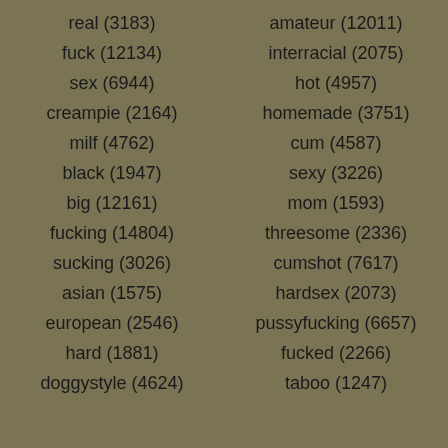real (3183)
amateur (12011)
fuck (12134)
interracial (2075)
sex (6944)
hot (4957)
creampie (2164)
homemade (3751)
milf (4762)
cum (4587)
black (1947)
sexy (3226)
big (12161)
mom (1593)
fucking (14804)
threesome (2336)
sucking (3026)
cumshot (7617)
asian (1575)
hardsex (2073)
european (2546)
pussyfucking (6657)
hard (1881)
fucked (2266)
doggystyle (4624)
taboo (1247)